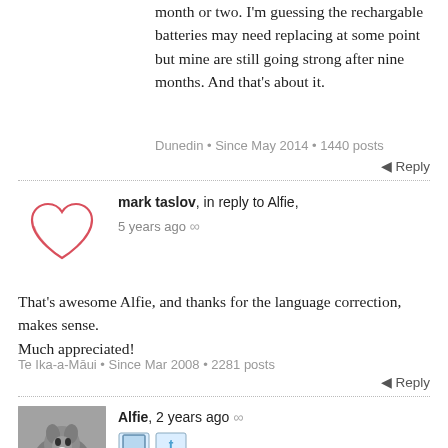month or two. I'm guessing the rechargable batteries may need replacing at some point but mine are still going strong after nine months. And that's about it.
Dunedin • Since May 2014 • 1440 posts
Reply
[Figure (illustration): Red heart outline drawing used as avatar]
mark taslov, in reply to Alfie, 5 years ago ∞
That's awesome Alfie, and thanks for the language correction, makes sense.
Much appreciated!
Te Ika-a-Māui • Since Mar 2008 • 2281 posts
Reply
[Figure (photo): Black and white photo of a dog (appears to be a border collie or similar breed) used as avatar for Alfie]
Alfie, 2 years ago ∞
WTF has happened to vaping lately? O'K, there were four or five deaths in the US but they were caused